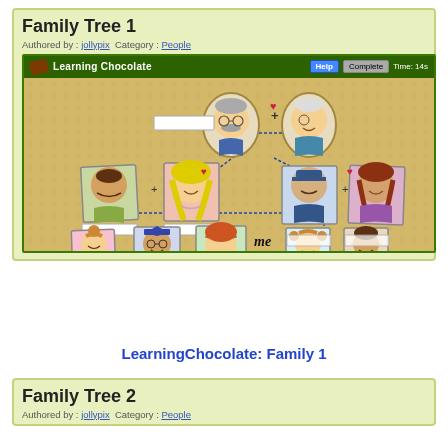Family Tree 1
Authored by : jollypix  Category : People
[Figure (screenshot): Screenshot of LearningChocolate Family Tree 1 interactive exercise showing a family tree diagram with cartoon character portraits connected by lines, including grandparents at top, parents in middle, and children at bottom, with 'me' label on the central child figure. Interface shows Help and Complete buttons and Time: 14s.]
LearningChocolate: Family 1
Family Tree 2
Authored by : jollypix  Category : People